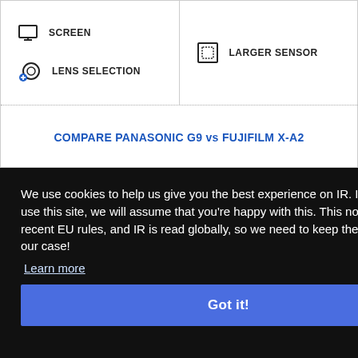SCREEN
LENS SELECTION
LARGER SENSOR
COMPARE PANASONIC G9 vs FUJIFILM X-A2
We use cookies to help us give you the best experience on IR. If you continue to use this site, we will assume that you're happy with this. This notice is required by recent EU rules, and IR is read globally, so we need to keep the bureaucrats off our case!
Learn more
Got it!
$1250 / APS-C
$599 / APS-C